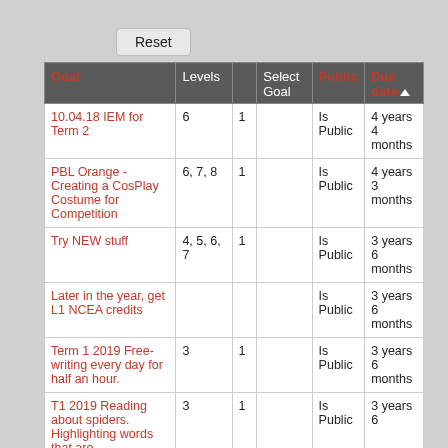Reset
| Goal | Levels |  | Select Goal | Public | Due date ▲ |
| --- | --- | --- | --- | --- | --- |
| 10.04.18 IEM for Term 2 | 6 | 1 |  | Is Public | 4 years 4 months |
| PBL Orange - Creating a CosPlay Costume for Competition | 6, 7, 8 | 1 |  | Is Public | 4 years 3 months |
| Try NEW stuff | 4, 5, 6, 7 | 1 |  | Is Public | 3 years 6 months |
| Later in the year, get L1 NCEA credits |  |  |  | Is Public | 3 years 6 months |
| Term 1 2019 Free-writing every day for half an hour. | 3 | 1 |  | Is Public | 3 years 6 months |
| T1 2019 Reading about spiders. Highlighting words that are | 3 | 1 |  | Is Public | 3 years 6 |